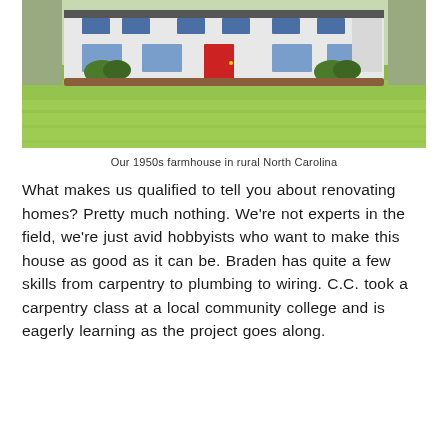[Figure (photo): A 1950s white farmhouse with a red front door, green lawn in the foreground, shrubs and landscaping around the foundation, with chain-link fencing visible in the background. Rural North Carolina setting.]
Our 1950s farmhouse in rural North Carolina
What makes us qualified to tell you about renovating homes? Pretty much nothing. We're not experts in the field, we're just avid hobbyists who want to make this house as good as it can be. Braden has quite a few skills from carpentry to plumbing to wiring. C.C. took a carpentry class at a local community college and is eagerly learning as the project goes along.